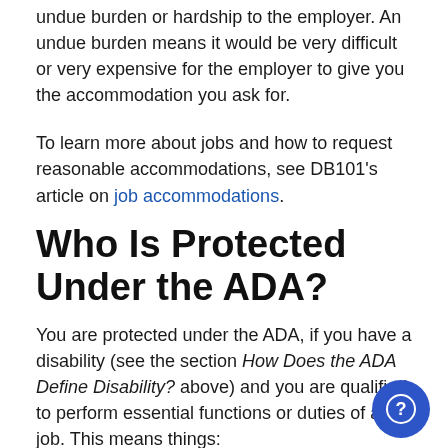undue burden or hardship to the employer. An undue burden means it would be very difficult or very expensive for the employer to give you the accommodation you ask for.
To learn more about jobs and how to request reasonable accommodations, see DB101's article on job accommodations.
Who Is Protected Under the ADA?
You are protected under the ADA, if you have a disability (see the section How Does the ADA Define Disability? above) and you are qualified to perform essential functions or duties of a job. This means things: